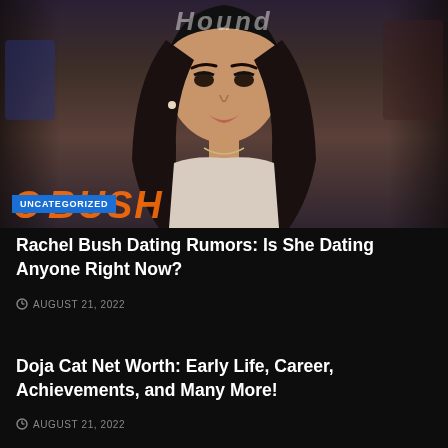[Figure (photo): Photo of a young woman with long dark hair and dramatic makeup, wearing a white outfit, with a blue UNCATEGORIZED badge and orange 'CELEB RUSH' text overlay at the bottom of the image. A faint site header reads 'Hound' at the top.]
Rachel Bush Dating Rumors: Is She Dating Anyone Right Now?
AUGUST 21, 2022
Doja Cat Net Worth: Early Life, Career, Achievements, and Many More!
AUGUST 21, 2022